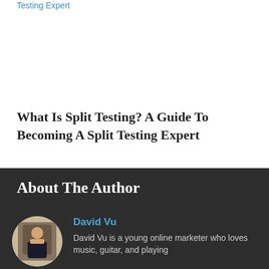Testing Expert
What Is Split Testing? A Guide To Becoming A Split Testing Expert
About The Author
David Vu
David Vu is a young online marketer who loves music, guitar, and playing